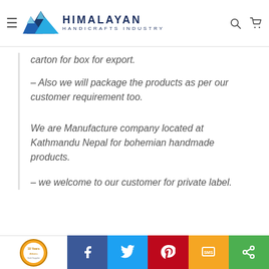Himalayan Handicrafts Industry
carton for box for export.
- Also we will package the products as per our customer requirement too.
We are Manufacture company located at Kathmandu Nepal for bohemian handmade products.
- we welcome to our customer for private label.
Social share bar: Facebook, Twitter, Pinterest, SMS, Share